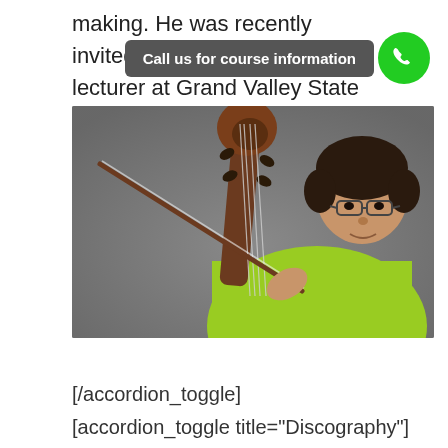making. He was recently invited as a professor and lecturer at Grand Valley State University and Andrews University in Michigan.
[Figure (photo): A man in a lime-green shirt holding a cello bow, posing with the scroll of a cello in the foreground, against a dark gray background.]
[/accordion_toggle]
[accordion_toggle title="Discography"]